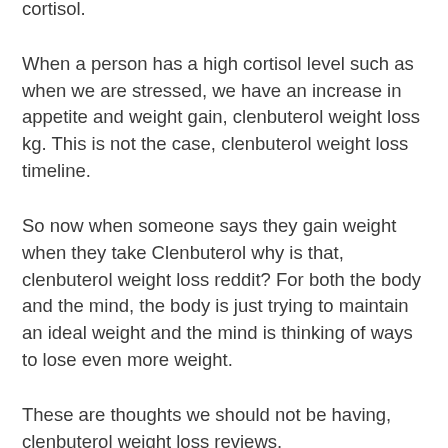cortisol.
When a person has a high cortisol level such as when we are stressed, we have an increase in appetite and weight gain, clenbuterol weight loss kg. This is not the case, clenbuterol weight loss timeline.
So now when someone says they gain weight when they take Clenbuterol why is that, clenbuterol weight loss reddit? For both the body and the mind, the body is just trying to maintain an ideal weight and the mind is thinking of ways to lose even more weight.
These are thoughts we should not be having, clenbuterol weight loss reviews.
So how does this apply to strength training?
Take a look at the bodybuilding and powerlifting communities: The first question